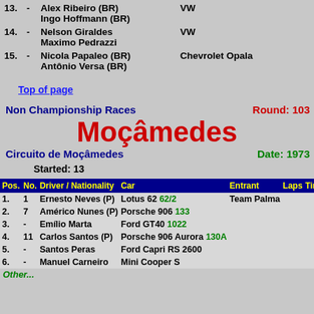| Pos. | No. | Driver / Nationality | Car |
| --- | --- | --- | --- |
| 13. | - | Alex Ribeiro (BR)
Ingo Hoffmann (BR) | VW |
| 14. | - | Nelson Giraldes
Maximo Pedrazzi | VW |
| 15. | - | Nicola Papaleo (BR)
Antônio Versa (BR) | Chevrolet Opala |
Top of page
Non Championship Races    Round: 103
Moçâmedes
Circuito de Moçâmedes    Date: 1973
Started: 13
| Pos. | No. | Driver / Nationality | Car | Entrant | Laps | Time/re |
| --- | --- | --- | --- | --- | --- | --- |
| 1. | 1 | Ernesto Neves (P) | Lotus 62 62/2 | Team Palma |  |  |
| 2. | 7 | Américo Nunes (P) | Porsche 906 133 |  |  |  |
| 3. | - | Emílio Marta | Ford GT40 1022 |  |  |  |
| 4. | 11 | Carlos Santos (P) | Porsche 906 Aurora 130A |  |  |  |
| 5. | - | Santos Peras | Ford Capri RS 2600 |  |  |  |
| 6. | - | Manuel Carneiro | Mini Cooper S |  |  |  |